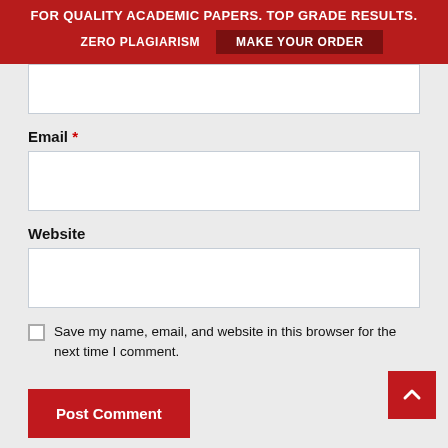FOR QUALITY ACADEMIC PAPERS. TOP GRADE RESULTS. ZERO PLAGIARISM   MAKE YOUR ORDER
[Figure (screenshot): Empty text input box (top, partially visible)]
Email *
[Figure (screenshot): Empty email input box]
Website
[Figure (screenshot): Empty website input box]
Save my name, email, and website in this browser for the next time I comment.
Post Comment